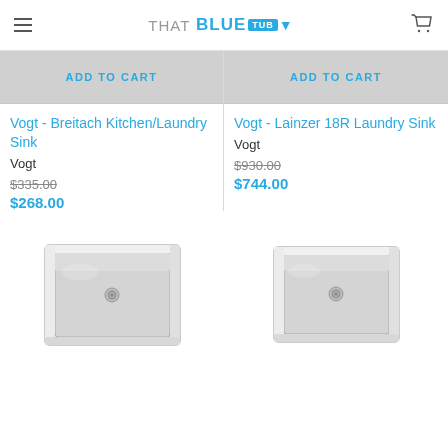THAT BLUE TUB
[Figure (other): Add to Cart button for Vogt Breitach Kitchen/Laundry Sink, gray background]
Vogt - Breitach Kitchen/Laundry Sink
Vogt
$335.00 (strikethrough) $268.00
[Figure (other): Add to Cart button for Vogt Lainzer 18R Laundry Sink, gray background]
Vogt - Lainzer 18R Laundry Sink
Vogt
$930.00 (strikethrough) $744.00
[Figure (photo): Stainless steel undermount kitchen/laundry sink, square shape with center drain]
[Figure (photo): Stainless steel undermount laundry sink, square shape with center drain]